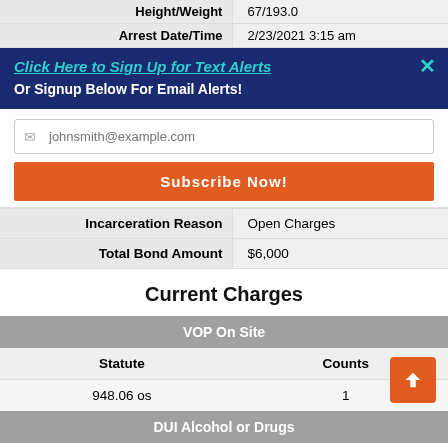| Field | Value |
| --- | --- |
| Height/Weight | 67/193.0 |
| Arrest Date/Time | 2/23/2021 3:15 am |
Click Here to Sign Up for Text Alerts
Or Signup Below For Email Alerts!
johnsmith@example.com
Subscribe Now!
| Field | Value |
| --- | --- |
| Incarceration Reason | Open Charges |
| Total Bond Amount | $6,000 |
Current Charges
| Statute | Counts |
| --- | --- |
| VOP On Site |  |
| 948.06 os | 1 |
| DUI Alcohol or Drugs |  |